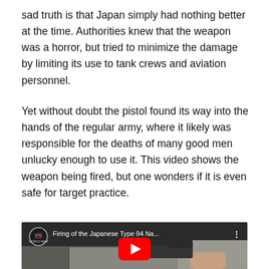sad truth is that Japan simply had nothing better at the time. Authorities knew that the weapon was a horror, but tried to minimize the damage by limiting its use to tank crews and aviation personnel.
Yet without doubt the pistol found its way into the hands of the regular army, where it likely was responsible for the deaths of many good men unlucky enough to use it. This video shows the weapon being fired, but one wonders if it is even safe for target practice.
[Figure (screenshot): YouTube video thumbnail showing a hand holding a Japanese Type 94 Nambu pistol outdoors. Video title reads 'Firing of the Japanese Type 94 Na...' with a red YouTube play button overlay and a circular channel logo in the top left.]